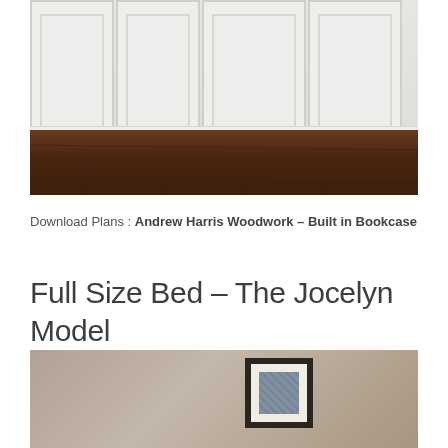[Figure (photo): Interior photo showing white built-in cabinet/bookcase panels on wall with dark hardwood floor below]
Download Plans : Andrew Harris Woodwork – Built in Bookcase
Full Size Bed – The Jocelyn Model
[Figure (photo): Room interior photo with tan/beige wall and a framed artwork hanging on it]